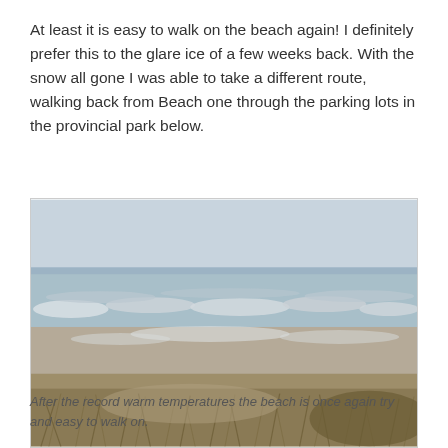At least it is easy to walk on the beach again! I definitely prefer this to the glare ice of a few weeks back.  With the snow all gone I was able to take a different route, walking back from Beach one through the parking lots in the provincial park below.
[Figure (photo): A beach scene in early spring showing sandy beach with patches of remaining snow/ice, dry grassy dunes in the foreground, and a large body of water with a grey sky in the background.]
After the record warm temperatures the beach is once again try and easy to walk on.